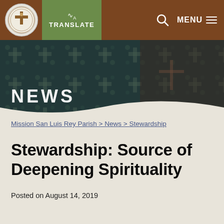[Figure (logo): Mission San Luis Rey Parish circular logo with cross]
TRANSLATE | MENU
[Figure (photo): Dark ornate textile background with cross patterns and NEWS header text overlay]
Mission San Luis Rey Parish > News > Stewardship
Stewardship: Source of Deepening Spirituality
Posted on August 14, 2019